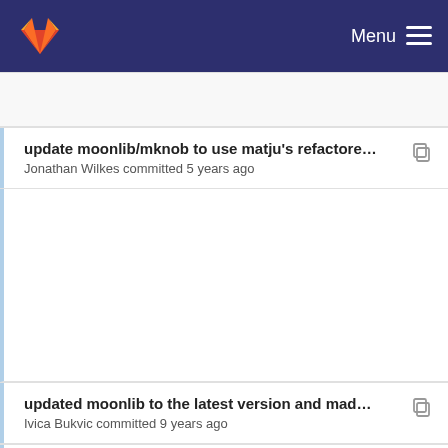GitLab — Menu
update moonlib/mknob to use matju's refactored i...
Jonathan Wilkes committed 5 years ago
updated moonlib to the latest version and made c...
Ivica Bukvic committed 9 years ago
update moonlib/mknob to use matju's refactored i...
Jonathan Wilkes committed 5 years ago
updated moonlib to the latest version and made c...
Ivica Bukvic committed 9 years ago